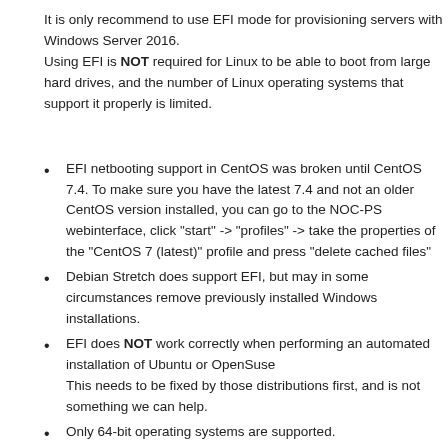It is only recommend to use EFI mode for provisioning servers with Windows Server 2016.
Using EFI is NOT required for Linux to be able to boot from large hard drives, and the number of Linux operating systems that support it properly is limited.
EFI netbooting support in CentOS was broken until CentOS 7.4. To make sure you have the latest 7.4 and not an older CentOS version installed, you can go to the NOC-PS webinterface, click "start" -> "profiles" -> take the properties of the "CentOS 7 (latest)" profile and press "delete cached files"
Debian Stretch does support EFI, but may in some circumstances remove previously installed Windows installations.
EFI does NOT work correctly when performing an automated installation of Ubuntu or OpenSuse
This needs to be fixed by those distributions first, and is not something we can help.
Only 64-bit operating systems are supported.